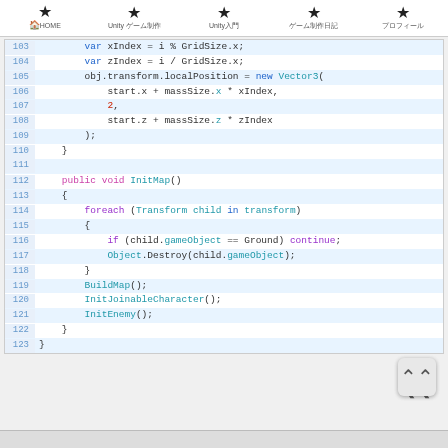★HOME  ★Unity (Japanese)  ★Unity(Japanese)  ★(Japanese)  ★(Japanese)
[Figure (screenshot): Code editor screenshot showing lines 103-123 of a Unity C# script with syntax highlighting. Code includes variable assignments, transform.localPosition setting with Vector3, and an InitMap() method with foreach loop, Destroy calls, BuildMap(), InitJoinableCharacter(), and InitEnemy() function calls.]
103  var xIndex = i % GridSize.x;
104  var zIndex = i / GridSize.x;
105  obj.transform.localPosition = new Vector3(
106      start.x + massSize.x * xIndex,
107      2,
108      start.z + massSize.z * zIndex
109  );
110  }
111  
112  public void InitMap()
113  {
114      foreach (Transform child in transform)
115      {
116          if (child.gameObject == Ground) continue;
117          Object.Destroy(child.gameObject);
118      }
119      BuildMap();
120      InitJoinableCharacter();
121      InitEnemy();
122  }
123 }